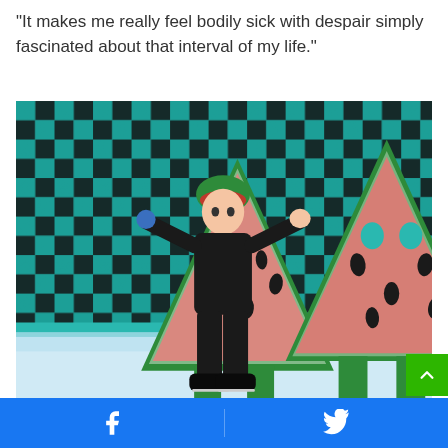“It makes me really feel bodily sick with despair simply fascinated about that interval of my life.”
[Figure (photo): A person dressed in black with a watermelon helmet ice skating on a rink stage, flanked by two performers in large triangular watermelon slice costumes. The background features a green and black checkerboard pattern.]
Facebook and Twitter share buttons